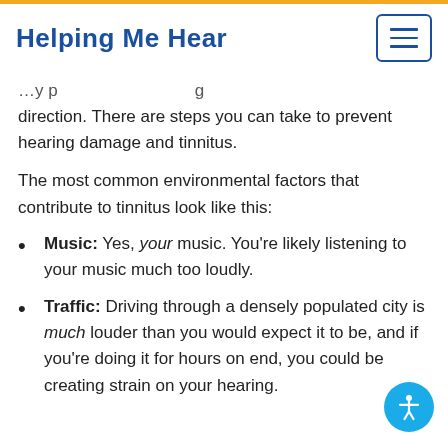Helping Me Hear
direction. There are steps you can take to prevent hearing damage and tinnitus.
The most common environmental factors that contribute to tinnitus look like this:
Music: Yes, your music. You're likely listening to your music much too loudly.
Traffic: Driving through a densely populated city is much louder than you would expect it to be, and if you're doing it for hours on end, you could be creating strain on your hearing.